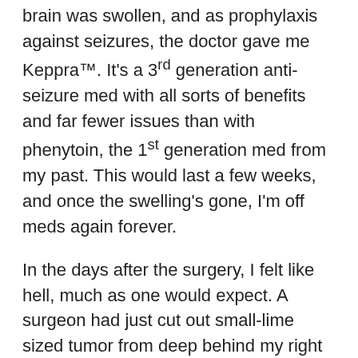Having gone through serious physical insult, my brain was swollen, and as prophylaxis against seizures, the doctor gave me Keppra™. It's a 3rd generation anti-seizure med with all sorts of benefits and far fewer issues than with phenytoin, the 1st generation med from my past. This would last a few weeks, and once the swelling's gone, I'm off meds again forever.
In the days after the surgery, I felt like hell, much as one would expect. A surgeon had just cut out small-lime sized tumor from deep behind my right eye, and now
I had several titanium screws keeping my skull together